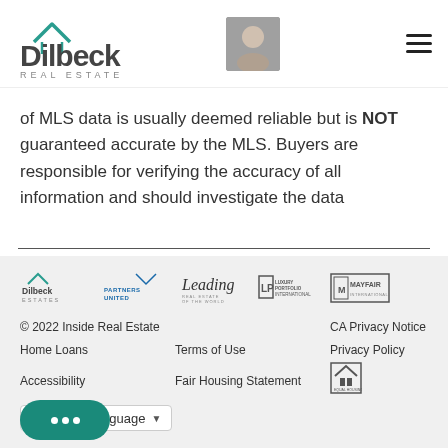[Figure (logo): Dilbeck Real Estate logo with house roofline icon in teal and gray text]
[Figure (photo): Small headshot photo of a man (agent) outdoors]
of MLS data is usually deemed reliable but is NOT guaranteed accurate by the MLS. Buyers are responsible for verifying the accuracy of all information and should investigate the data
[Figure (logo): Row of partner logos: Dilbeck Estates, Partners United Financial, Leading Real Estate Companies of the World, LP Luxury Portfolio International, Mayfair International Realty]
© 2022 Inside Real Estate   CA Privacy Notice
Home Loans   Terms of Use   Privacy Policy
Accessibility   Fair Housing Statement
[Figure (logo): Equal Housing Opportunity logo]
Select Language
[Figure (illustration): Green chat button with three dots]